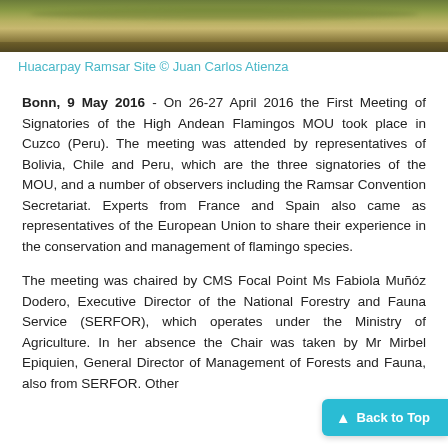[Figure (photo): Photograph of a wetland landscape with dry golden grass and reeds at Huacarpay Ramsar Site]
Huacarpay Ramsar Site © Juan Carlos Atienza
Bonn, 9 May 2016 - On 26-27 April 2016 the First Meeting of Signatories of the High Andean Flamingos MOU took place in Cuzco (Peru). The meeting was attended by representatives of Bolivia, Chile and Peru, which are the three signatories of the MOU, and a number of observers including the Ramsar Convention Secretariat. Experts from France and Spain also came as representatives of the European Union to share their experience in the conservation and management of flamingo species.
The meeting was chaired by CMS Focal Point Ms Fabiola Muñóz Dodero, Executive Director of the National Forestry and Fauna Service (SERFOR), which operates under the Ministry of Agriculture. In her absence the Chair was taken by Mr Mirbel Epiquien, General Director of Management of Forests and Fauna, also from SERFOR. Other